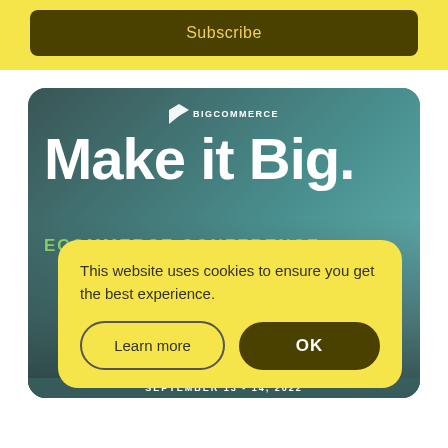Subscribe
[Figure (screenshot): BigCommerce 'Make it Big. Ecommerce Conference' promotional banner with teal background and person silhouette, overlaid with a yellow cookie consent dialog containing 'This website uses cookies to ensure you get the best experience.' and buttons 'Learn more' and 'OK', plus a date bar at the bottom showing 'SEPTEMBER 13 - 14, 2022']
This website uses cookies to ensure you get the best experience.
Learn more
OK